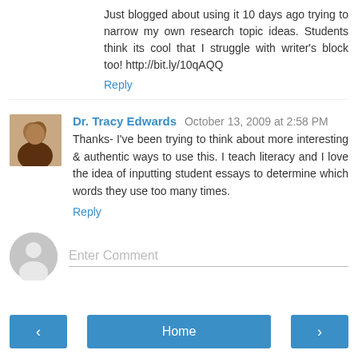Just blogged about using it 10 days ago trying to narrow my own research topic ideas. Students think its cool that I struggle with writer's block too! http://bit.ly/10qAQQ
Reply
Dr. Tracy Edwards  October 13, 2009 at 2:58 PM
Thanks- I've been trying to think about more interesting & authentic ways to use this. I teach literacy and I love the idea of inputting student essays to determine which words they use too many times.
Reply
Enter Comment
Home